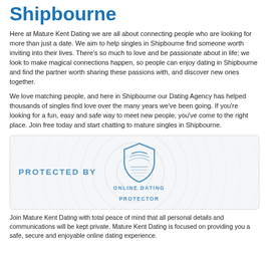Shipbourne
Here at Mature Kent Dating we are all about connecting people who are looking for more than just a date. We aim to help singles in Shipbourne find someone worth inviting into their lives. There's so much to love and be passionate about in life; we look to make magical connections happen, so people can enjoy dating in Shipbourne and find the partner worth sharing these passions with, and discover new ones together.
We love matching people, and here in Shipbourne our Dating Agency has helped thousands of singles find love over the many years we've been going. If you're looking for a fun, easy and safe way to meet new people, you've come to the right place. Join free today and start chatting to mature singles in Shipbourne.
[Figure (logo): Protected By Online Dating Protector badge with shield icon and ripple background]
Join Mature Kent Dating with total peace of mind that all personal details and communications will be kept private. Mature Kent Dating is focused on providing you a safe, secure and enjoyable online dating experience.